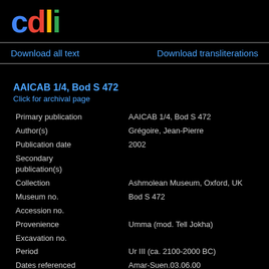[Figure (logo): CDLI logo with colored letters: c (blue), d (red), l (yellow), i (green)]
Download all text
Download transliterations
AAICAB 1/4, Bod S 472
Click for archival page
| Field | Value |
| --- | --- |
| Primary publication | AAICAB 1/4, Bod S 472 |
| Author(s) | Grégoire, Jean-Pierre |
| Publication date | 2002 |
| Secondary publication(s) |  |
| Collection | Ashmolean Museum, Oxford, UK |
| Museum no. | Bod S 472 |
| Accession no. |  |
| Provenience | Umma (mod. Tell Jokha) |
| Excavation no. |  |
| Period | Ur III (ca. 2100-2000 BC) |
| Dates referenced | Amar-Suen.03.06.00 |
| Object type | tablet |
| Remarks |  |
| Material | clay |
| Language | Sumerian |
| Genre | Administrative |